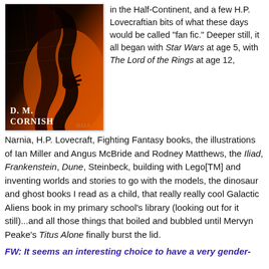[Figure (illustration): Book cover of a D. M. Cornish novel — dark red/orange/black illustration of a shadowy figure, with 'D. M. CORNISH' text at bottom left and 'HALF' partially visible at bottom right.]
in the Half-Continent, and a few H.P. Lovecraftian bits of what these days would be called "fan fic." Deeper still, it all began with Star Wars at age 5, with The Lord of the Rings at age 12, Narnia, H.P. Lovecraft, Fighting Fantasy books, the illustrations of Ian Miller and Angus McBride and Rodney Matthews, the Iliad, Frankenstein, Dune, Steinbeck, building with Lego[TM] and inventing worlds and stories to go with the models, the dinosaur and ghost books I read as a child, that really really cool Galactic Aliens book in my primary school's library (looking out for it still)...and all those things that boiled and bubbled until Mervyn Peake's Titus Alone finally burst the lid.
FW: It seems an interesting choice to have a very gender-